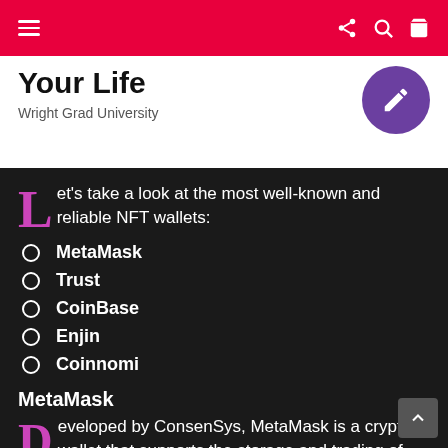Your Life — Wright Grad University
Let's take a look at the most well-known and reliable NFT wallets:
MetaMask
Trust
CoinBase
Enjin
Coinnomi
MetaMask
Developed by ConsenSys, MetaMask is a crypto wallet that supports the storage and trading of